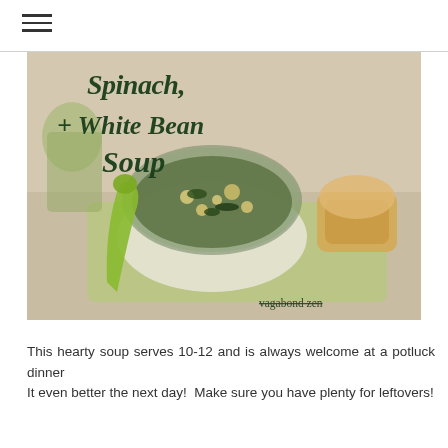≡
[Figure (photo): A bowl of spinach and white bean soup with bread, on a light green tray with a green spoon. Dark green cursive text overlay reads 'Spinach, + White Bean Soup'. Brand watermark 'vagabond zen' at bottom right.]
This hearty soup serves 10-12 and is always welcome at a potluck dinner
It even better the next day!  Make sure you have plenty for leftovers!